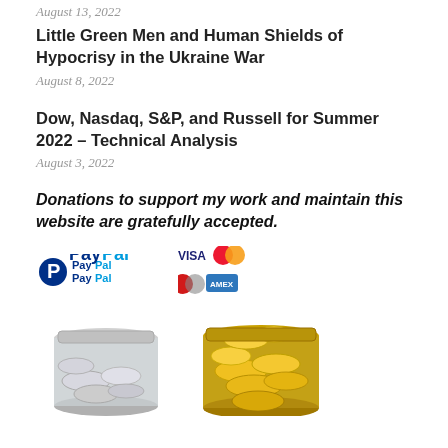August 13, 2022
Little Green Men and Human Shields of Hypocrisy in the Ukraine War
August 8, 2022
Dow, Nasdaq, S&P, and Russell for Summer 2022 – Technical Analysis
August 3, 2022
Donations to support my work and maintain this website are gratefully accepted.
[Figure (logo): PayPal logo and credit card logos (VISA, Mastercard, American Express), with two glass jars filled with coins below]